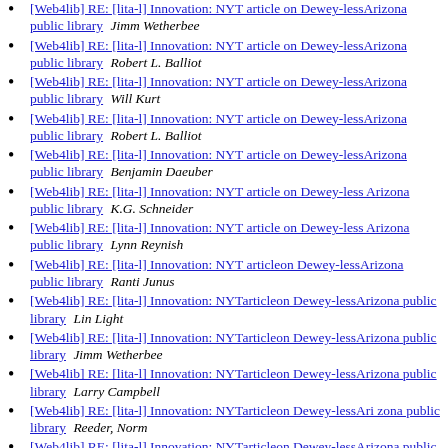[Web4lib] RE: [lita-l] Innovation: NYT article on Dewey-lessArizona public library  Jimm Wetherbee
[Web4lib] RE: [lita-l] Innovation: NYT article on Dewey-lessArizona public library  Robert L. Balliot
[Web4lib] RE: [lita-l] Innovation: NYT article on Dewey-lessArizona public library  Will Kurt
[Web4lib] RE: [lita-l] Innovation: NYT article on Dewey-lessArizona public library  Robert L. Balliot
[Web4lib] RE: [lita-l] Innovation: NYT article on Dewey-lessArizona public library  Benjamin Daeuber
[Web4lib] RE: [lita-l] Innovation: NYT article on Dewey-less Arizona public library  K.G. Schneider
[Web4lib] RE: [lita-l] Innovation: NYT article on Dewey-less Arizona public library  Lynn Reynish
[Web4lib] RE: [lita-l] Innovation: NYT articleon Dewey-lessArizona public library  Ranti Junus
[Web4lib] RE: [lita-l] Innovation: NYTarticleon Dewey-lessArizona public library  Lin Light
[Web4lib] RE: [lita-l] Innovation: NYTarticleon Dewey-lessArizona public library  Jimm Wetherbee
[Web4lib] RE: [lita-l] Innovation: NYTarticleon Dewey-lessArizona public library  Larry Campbell
[Web4lib] RE: [lita-l] Innovation: NYTarticleon Dewey-lessAri zona public library  Reeder, Norm
[Web4lib] RE: [lita-l] Innovation: NYTarticleon Dewey-lessArizona public library  John Creech